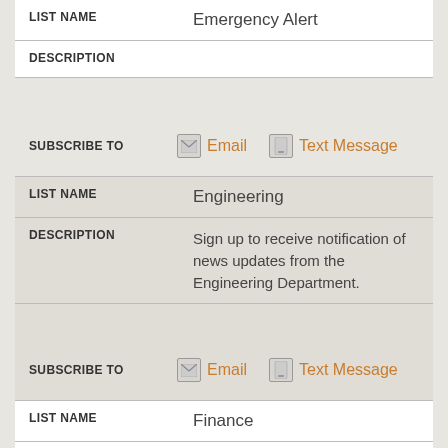| Field | Value |
| --- | --- |
| LIST NAME | Emergency Alert |
| DESCRIPTION |  |
| SUBSCRIBE TO | Email  Text Message |
| LIST NAME | Engineering |
| DESCRIPTION | Sign up to receive notification of news updates from the Engineering Department. |
| SUBSCRIBE TO | Email  Text Message |
| LIST NAME | Finance |
| DESCRIPTION | Sign up to receive notification of news updates from the Finance Department. |